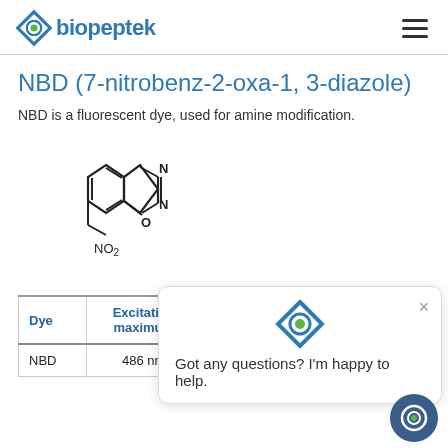biopeptek
NBD (7-nitrobenz-2-oxa-1, 3-diazole)
NBD is a fluorescent dye, used for amine modification.
[Figure (illustration): Chemical structure of NBD (7-nitrobenz-2-oxa-1,3-diazole) showing a benzofurazan ring with NO2 substituent]
| Dye | Excitation maximum | Emission maximum | Extinction coefficient |
| --- | --- | --- | --- |
| NBD | 486 nm | 543 nm | 27,000 |